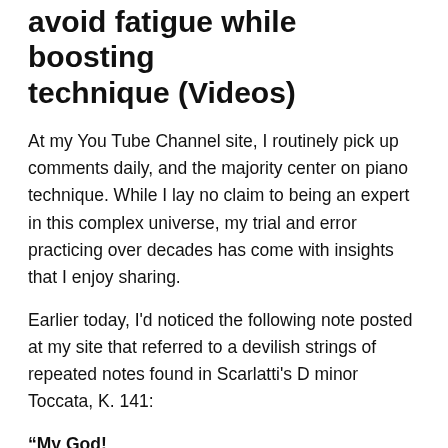avoid fatigue while boosting technique (Videos)
At my You Tube Channel site, I routinely pick up comments daily, and the majority center on piano technique. While I lay no claim to being an expert in this complex universe, my trial and error practicing over decades has come with insights that I enjoy sharing.
Earlier today, I'd noticed the following note posted at my site that referred to a devilish strings of repeated notes found in Scarlatti's D minor Toccata, K. 141:
“My God!
“I can’t believe I’ve found this video—I’ve been killing myself trying to loosen up my 3-2-1 repeated notes for this EXACT piece!